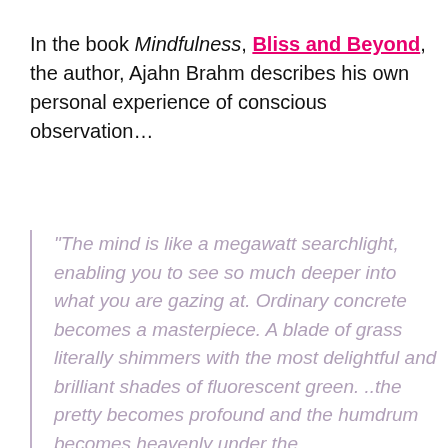In the book Mindfulness, Bliss and Beyond, the author, Ajahn Brahm describes his own personal experience of conscious observation…
“The mind is like a megawatt searchlight, enabling you to see so much deeper into what you are gazing at. Ordinary concrete becomes a masterpiece. A blade of grass literally shimmers with the most delightful and brilliant shades of fluorescent green. ..the pretty becomes profound and the humdrum becomes heavenly under the